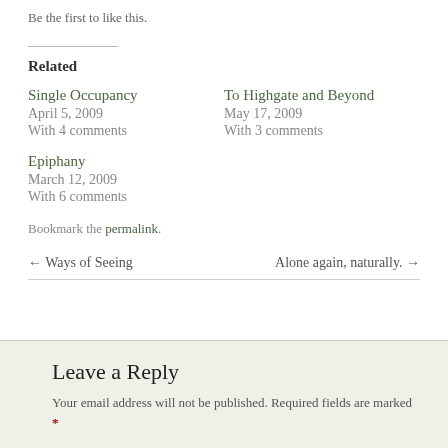Be the first to like this.
Related
Single Occupancy
April 5, 2009
With 4 comments
To Highgate and Beyond
May 17, 2009
With 3 comments
Epiphany
March 12, 2009
With 6 comments
Bookmark the permalink.
← Ways of Seeing
Alone again, naturally. →
Leave a Reply
Your email address will not be published. Required fields are marked *